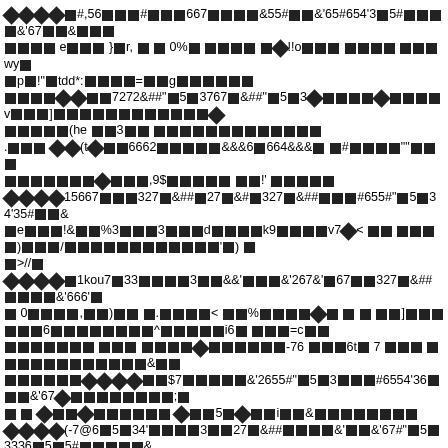Garbled/corrupted text content with special characters, numeric sequences, HTML entities, and symbol blocks throughout the page. Content appears to be OCR artifacts or encoding errors mixed with ASCII symbols and Unicode replacement characters.